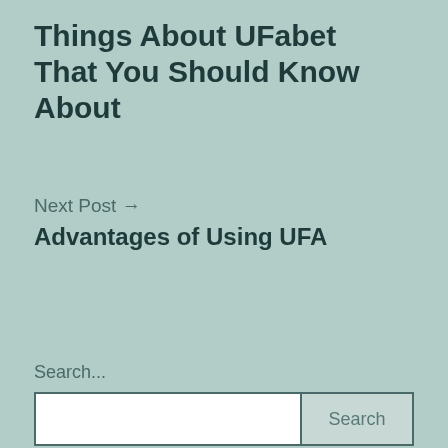Things About UFabet That You Should Know About
Next Post →
Advantages of Using UFA
Search...
Search